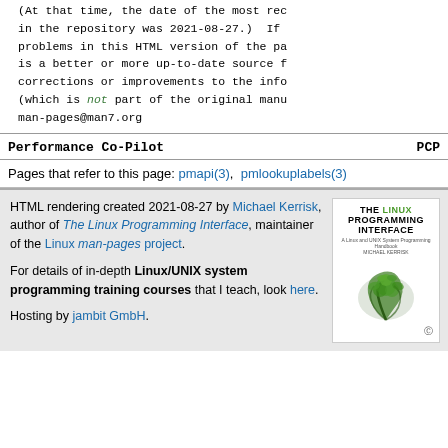(At that time, the date of the most recent commit in the repository was 2021-08-27.)  If you find any problems in this HTML version of the page, or believe there is a better or more up-to-date source for the page, or have corrections or improvements to the information in this COLOPHON (which is not part of the original manual page), send a mail to man-pages@man7.org
Performance Co-Pilot    PCP
Pages that refer to this page: pmapi(3),  pmlookuplabels(3)
HTML rendering created 2021-08-27 by Michael Kerrisk, author of The Linux Programming Interface, maintainer of the Linux man-pages project.

For details of in-depth Linux/UNIX system programming training courses that I teach, look here.

Hosting by jambit GmbH.
[Figure (illustration): Book cover of The Linux Programming Interface by Michael Kerrisk, showing a green fern spiral on white background]